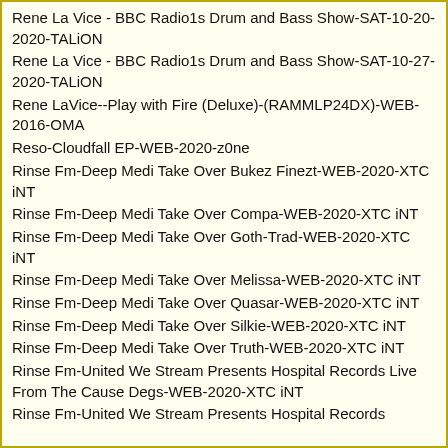Rene La Vice - BBC Radio1s Drum and Bass Show-SAT-10-20-2020-TALiON
Rene La Vice - BBC Radio1s Drum and Bass Show-SAT-10-27-2020-TALiON
Rene LaVice--Play with Fire (Deluxe)-(RAMMLP24DX)-WEB-2016-OMA
Reso-Cloudfall EP-WEB-2020-z0ne
Rinse Fm-Deep Medi Take Over Bukez Finezt-WEB-2020-XTC iNT
Rinse Fm-Deep Medi Take Over Compa-WEB-2020-XTC iNT
Rinse Fm-Deep Medi Take Over Goth-Trad-WEB-2020-XTC iNT
Rinse Fm-Deep Medi Take Over Melissa-WEB-2020-XTC iNT
Rinse Fm-Deep Medi Take Over Quasar-WEB-2020-XTC iNT
Rinse Fm-Deep Medi Take Over Silkie-WEB-2020-XTC iNT
Rinse Fm-Deep Medi Take Over Truth-WEB-2020-XTC iNT
Rinse Fm-United We Stream Presents Hospital Records Live From The Cause Degs-WEB-2020-XTC iNT
Rinse Fm-United We Stream Presents Hospital Records